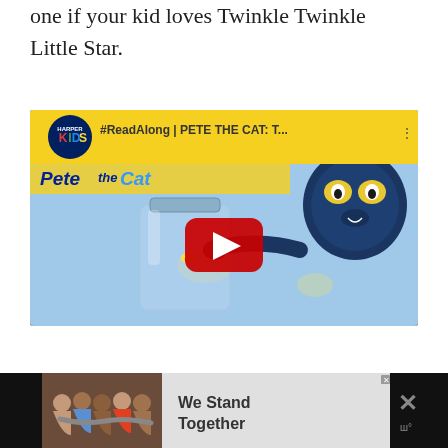one if your kid loves Twinkle Twinkle Little Star.
[Figure (screenshot): YouTube video thumbnail for #ReadAlong | PETE THE CAT: T... featuring Pete the Cat holding a jar with fireflies, HarperKids logo, yellow banner with Pete the Cat title text, and red play button overlay.]
[Figure (screenshot): Advertisement banner at the bottom showing people with arms around each other and text 'We Stand Together' with a close button and X on the right.]